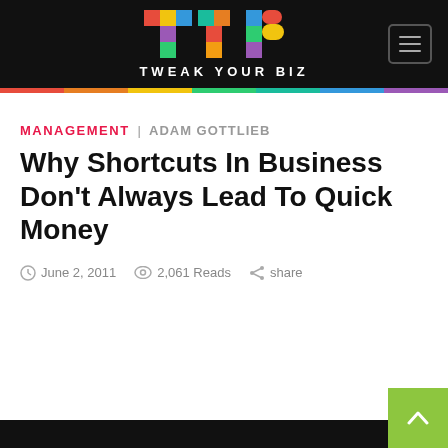[Figure (logo): Tweak Your Biz colorful TYB logo with text TWEAK YOUR BIZ on dark background]
MANAGEMENT | ADAM GOTTLIEB
Why Shortcuts In Business Don't Always Lead To Quick Money
June 2, 2011   2,061 Reads   share